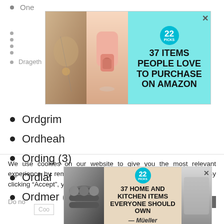One
[Figure (infographic): Advertisement: 37 Items People Love to Purchase on Amazon, with badge showing 22, teal background, images of jewelry and pink soap dispenser]
Drageth
Ordgrim
Ordheah
Ording (3)
Ordlaf
Ordmer (6)
We use cookies on our website to give you the most relevant experience by remembering your preferences and repeat visits. By clicking “Accept”, you consent to the use of ALL the cookies.
Do no
Coo
CLOSE
[Figure (infographic): Advertisement: 37 Home and Kitchen Items Everyone Should Own, showing dumbbells and gloves, Mueller brand, teal badge with 22, beige/gray background]